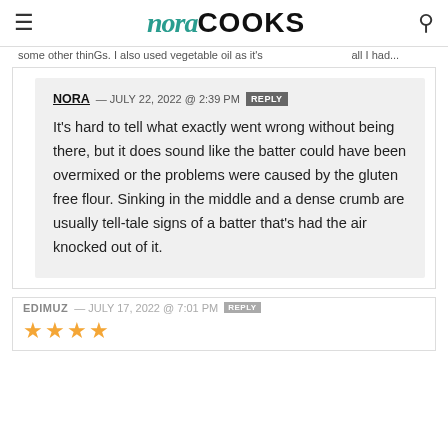nora COOKS
some other thinGs. I also used vegetable oil as it's all i had...
NORA — JULY 22, 2022 @ 2:39 PM REPLY
It's hard to tell what exactly went wrong without being there, but it does sound like the batter could have been overmixed or the problems were caused by the gluten free flour. Sinking in the middle and a dense crumb are usually tell-tale signs of a batter that's had the air knocked out of it.
EDIMUZ — JULY 17, 2022 @ 7:01 PM REPLY